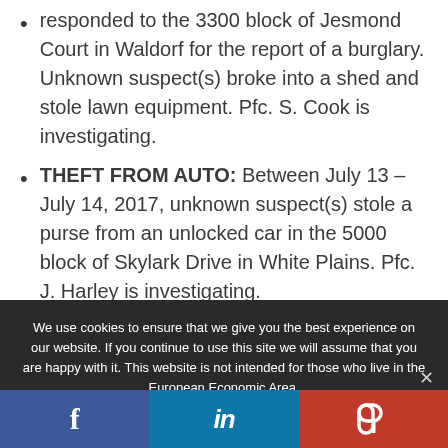responded to the 3300 block of Jesmond Court in Waldorf for the report of a burglary. Unknown suspect(s) broke into a shed and stole lawn equipment. Pfc. S. Cook is investigating.
THEFT FROM AUTO: Between July 13 – July 14, 2017, unknown suspect(s) stole a purse from an unlocked car in the 5000 block of Skylark Drive in White Plains. Pfc. J. Harley is investigating.
We use cookies to ensure that we give you the best experience on our website. If you continue to use this site we will assume that you are happy with it. This website is not intended for those who live in the European Economic Area.